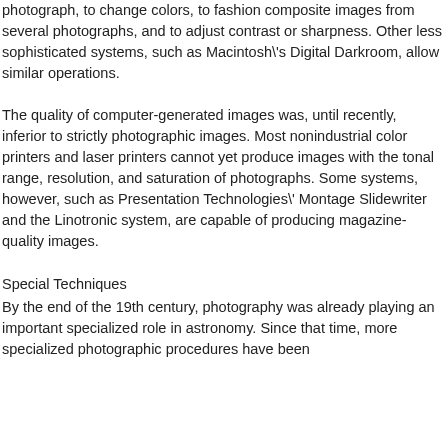photograph, to change colors, to fashion composite images from several photographs, and to adjust contrast or sharpness. Other less sophisticated systems, such as Macintosh's Digital Darkroom, allow similar operations. The quality of computer-generated images was, until recently, inferior to strictly photographic images. Most nonindustrial color printers and laser printers cannot yet produce images with the tonal range, resolution, and saturation of photographs. Some systems, however, such as Presentation Technologies' Montage Slidewriter and the Linotronic system, are capable of producing magazine-quality images.
Special Techniques
By the end of the 19th century, photography was already playing an important specialized role in astronomy. Since that time, more specialized photographic procedures have been